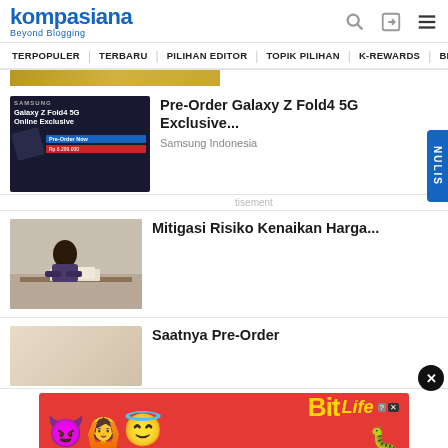kompasiana Beyond Blogging
TERPOPULER  TERBARU  PILIHAN EDITOR  TOPIK PILIHAN  K-REWARDS  BEAUTY
[Figure (screenshot): Partial image strip at top, gold/yellow gradient]
[Figure (photo): Samsung Galaxy Z Fold4 5G advertisement thumbnail showing phone and pre-order details]
Pre-Order Galaxy Z Fold4 5G Exclusive...
Samsung Indonesia
tisement
[Figure (photo): Woman working at a desk with papers and books]
Mitigasi Risiko Kenaikan Harga...
[Figure (photo): Partial thumbnail of bottom article]
Saatnya Pre-Order
[Figure (photo): BitLife REAL CHOICES advertisement banner with emoji characters on red background]